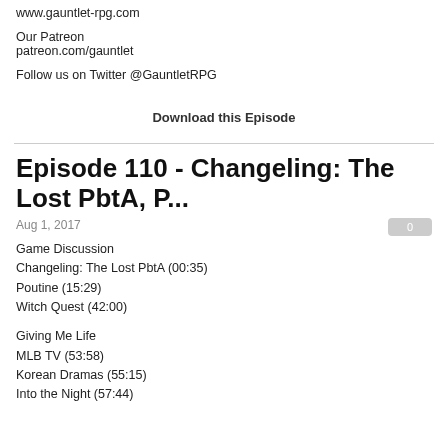www.gauntlet-rpg.com
Our Patreon
patreon.com/gauntlet
Follow us on Twitter @GauntletRPG
Download this Episode
Episode 110 - Changeling: The Lost PbtA, P...
Aug 1, 2017
0
Game Discussion
Changeling: The Lost PbtA (00:35)
Poutine (15:29)
Witch Quest (42:00)

Giving Me Life
MLB TV (53:58)
Korean Dramas (55:15)
Into the Night (57:44)